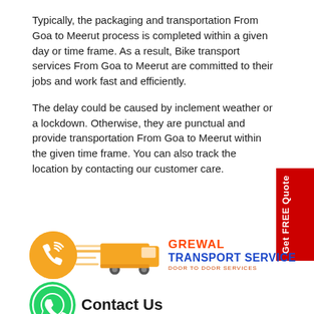Typically, the packaging and transportation From Goa to Meerut process is completed within a given day or time frame. As a result, Bike transport services From Goa to Meerut are committed to their jobs and work fast and efficiently.
The delay could be caused by inclement weather or a lockdown. Otherwise, they are punctual and provide transportation From Goa to Meerut within the given time frame. You can also track the location by contacting our customer care.
[Figure (logo): Grewal Transport Service logo with orange phone icon, orange truck with speed lines, brand name GREWAL TRANSPORT SERVICE, and tagline DOOR TO DOOR SERVICES]
Contact Us